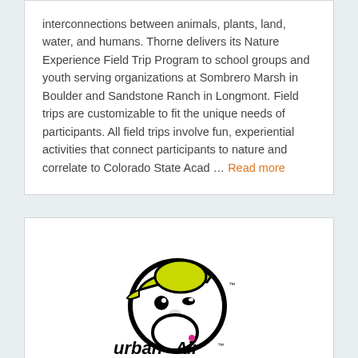interconnections between animals, plants, land, water, and humans. Thorne delivers its Nature Experience Field Trip Program to school groups and youth serving organizations at Sombrero Marsh in Boulder and Sandstone Ranch in Longmont. Field trips are customizable to fit the unique needs of participants. All field trips involve fun, experiential activities that connect participants to nature and correlate to Colorado State Acad ... Read more
[Figure (logo): Urban Air Adventure Park logo — cartoon character wearing a sideways cap, with 'urban Air ADVENTURE PARK' text below]
Urban Air Trampoline and Adventure Park - Westminster
Westminster
Map It